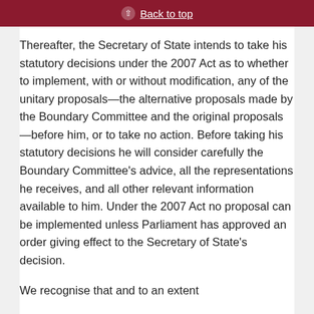Back to top
Thereafter, the Secretary of State intends to take his statutory decisions under the 2007 Act as to whether to implement, with or without modification, any of the unitary proposals—the alternative proposals made by the Boundary Committee and the original proposals—before him, or to take no action. Before taking his statutory decisions he will consider carefully the Boundary Committee's advice, all the representations he receives, and all other relevant information available to him. Under the 2007 Act no proposal can be implemented unless Parliament has approved an order giving effect to the Secretary of State's decision.
We recognise that and to an extent...